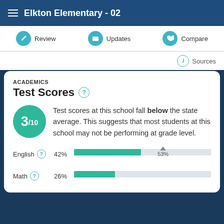Elkton Elementary - 02
Review | Updates | Compare
Sources
ACADEMICS
Test Scores
Test scores at this school fall below the state average. This suggests that most students at this school may not be performing at grade level.
[Figure (bar-chart): English and Math Test Scores]